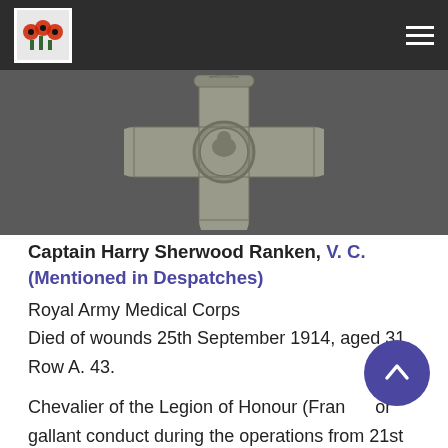[Figure (photo): Navigation bar with poppies logo on the left and hamburger menu on the right, on a dark background]
[Figure (photo): Victoria Cross medal shown against a dark grey background]
Captain Harry Sherwood Ranken, V. C. (Mentioned in Despatches)
Royal Army Medical Corps
Died of wounds 25th September 1914, aged 31.
Row A. 43.
Chevalier of the Legion of Honour (France) for gallant conduct during the operations from 21st to 30th August 1914.